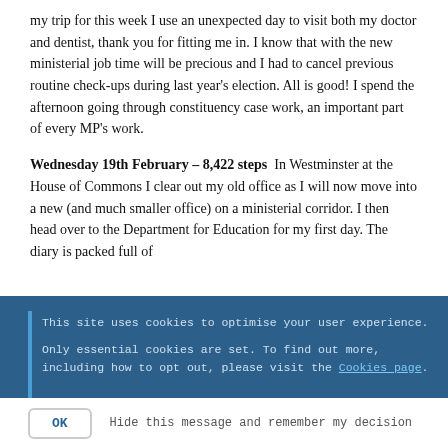my trip for this week I use an unexpected day to visit both my doctor and dentist, thank you for fitting me in. I know that with the new ministerial job time will be precious and I had to cancel previous routine check-ups during last year's election. All is good! I spend the afternoon going through constituency case work, an important part of every MP's work.
Wednesday 19th February – 8,422 steps  In Westminster at the House of Commons I clear out my old office as I will now move into a new (and much smaller office) on a ministerial corridor. I then head over to the Department for Education for my first day. The diary is packed full of
This site uses cookies to optimise your user experience.
Only essential cookies are set. To find out more, including how to opt out, please visit the Cookies page.
OK  Hide this message and remember my decision